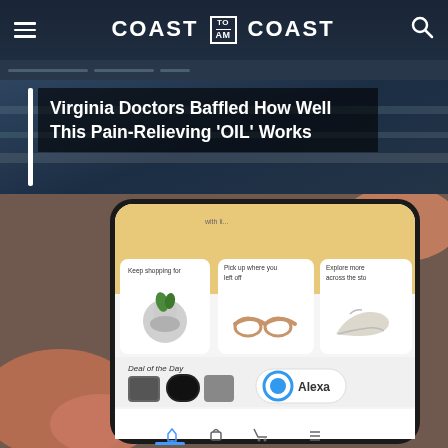COAST TO COAST AM
[Figure (screenshot): Top portion of a webpage showing a dark blue navigation bar with hamburger menu, Coast to Coast AM logo, and search icon. Below is a dark blue blurred background image with a white vertical bar on the left and a headline overlay reading: Virginia Doctors Baffled How Well This Pain-Relieving 'OIL' Works]
Virginia Doctors Baffled How Well This Pain-Relieving 'OIL' Works
[Figure (photo): A hand holding a smartphone displaying the Amazon shopping app. The screen shows: Keep shopping for (plant terrarium), Pick up where you left off (sunglasses), Explore more across the store (sneakers), Deal of the Day section with product images, and the Alexa button. Bottom navigation bar visible with home, lock, cart, and menu icons.]